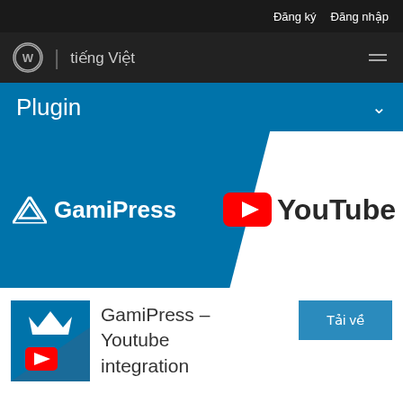Đăng ký  Đăng nhập
tiếng Việt
Plugin
[Figure (logo): GamiPress logo and YouTube logo banner on blue background]
GamiPress – Youtube integration
Tải về